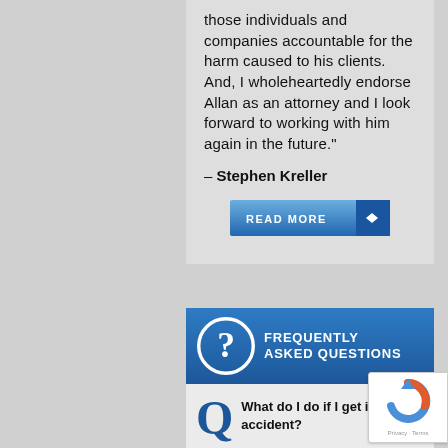those individuals and companies accountable for the harm caused to his clients. And, I wholeheartedly endorse Allan as an attorney and I look forward to working with him again in the future."
– Stephen Kreller
[Figure (other): Blue 'READ MORE' button with right-arrow icon]
FREQUENTLY ASKED QUESTIONS
What do I do if I get in a car accident?